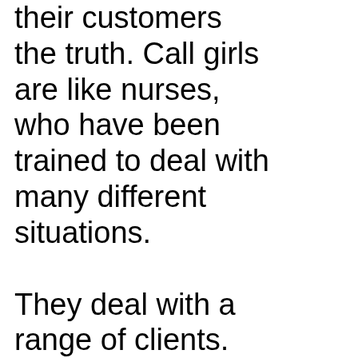their customers the truth. Call girls are like nurses, who have been trained to deal with many different situations.

They deal with a range of clients. One man may prefer a girl with tattoos while the other man may desire a sexy and